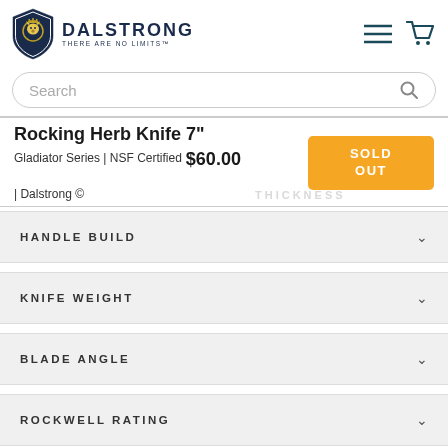[Figure (logo): Dalstrong brand logo with lion shield and brand name DALSTRONG, tagline THERE ARE NO LIMITS]
Search
Rocking Herb Knife 7"
Gladiator Series | NSF Certified $60.00 | Dalstrong ©
SOLD OUT
HANDLE BUILD
KNIFE WEIGHT
BLADE ANGLE
ROCKWELL RATING